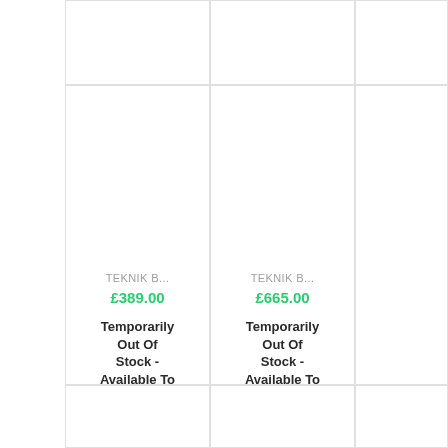[Figure (screenshot): Product listing grid showing two product cards. Left card: TEKNIK B... priced at £389.00, Temporarily Out Of Stock - Available To Pre Order. Right card: TEKNIK B... priced at £665.00, Temporarily Out Of Stock - Available To Pre Order.]